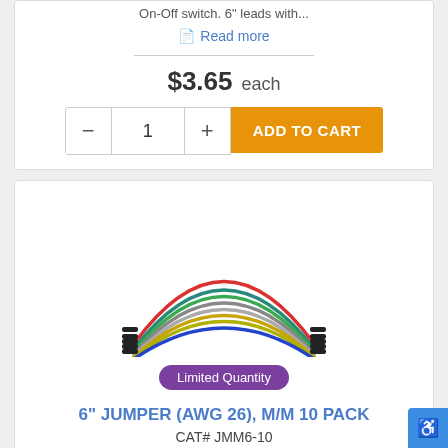On-Off switch. 6" leads with...
Read more
$3.65 each
[Figure (photo): Multiple colorful jumper wires (red, teal, green, grey, yellow, blue) arranged in an arc shape with black connector ends on both sides]
Limited Quantity
6" JUMPER (AWG 26), M/M 10 PACK
CAT# JMM6-10
Read more